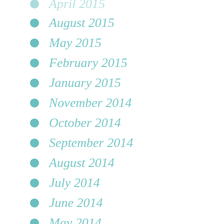April 2015
August 2015
May 2015
February 2015
January 2015
November 2014
October 2014
September 2014
August 2014
July 2014
June 2014
May 2014
April 2014
March 2014
January 2014
December 2013
November 2013
October 2013
September 2013
August 2013
July 2013
June 2013
May 2013